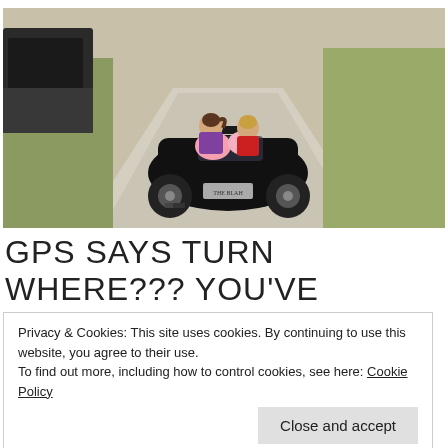[Figure (photo): Two children riding a small black toy electric car (VW Beetle-style) from behind on a dirt/gravel road. One child wears a purple shirt with brown ponytail, the other wears a red shirt. Pink accessories visible on the car. A full-size dark truck is parked on the left side. Green grass and vegetation in the background.]
GPS SAYS TURN WHERE??? YOU'VE
GOT TO BE KIDDING!
Privacy & Cookies: This site uses cookies. By continuing to use this website, you agree to their use.
To find out more, including how to control cookies, see here: Cookie Policy
Close and accept